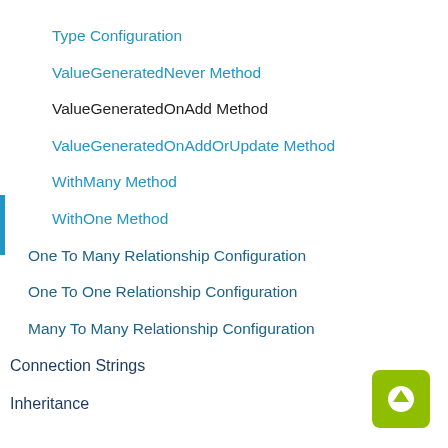Type Configuration
ValueGeneratedNever Method
ValueGeneratedOnAdd Method
ValueGeneratedOnAddOrUpdate Method
WithMany Method
WithOne Method
One To Many Relationship Configuration
One To One Relationship Configuration
Many To Many Relationship Configuration
Connection Strings
Inheritance